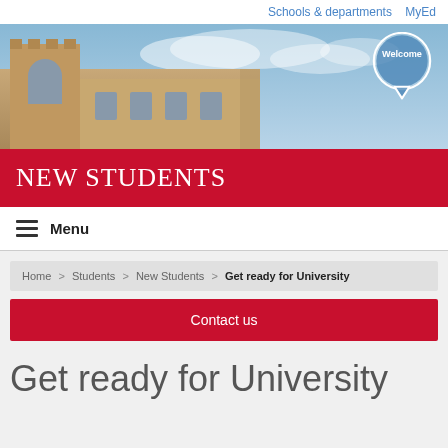Schools & departments   MyEd
[Figure (photo): University building facade with stone architecture against a blue sky background, with a circular white 'Welcome' speech bubble in the top right corner]
NEW STUDENTS
Menu
Home > Students > New Students > Get ready for University
Contact us
Get ready for University